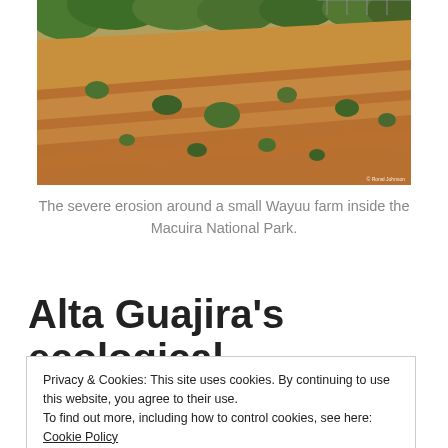[Figure (photo): Photograph of severe erosion on a hillside with sparse shrubs and reddish-brown soil, inside Macuira National Park. A small Wayuu farm area is visible. Photo credit text in lower right corner.]
The severe erosion around a small Wayuu farm inside the Macuira National Park.
Alta Guajira's ecological
Privacy & Cookies: This site uses cookies. By continuing to use this website, you agree to their use.
To find out more, including how to control cookies, see here: Cookie Policy
Close and accept
...